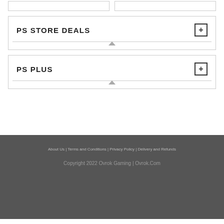PS STORE DEALS
PS PLUS
About Us | Terms and Conditions | Privacy Policy | Delivery and Refunds
Copyright 2022 Ovrok Gaming | Ovrok.Com